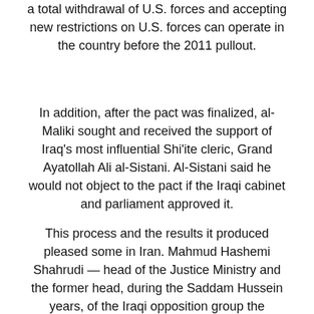a total withdrawal of U.S. forces and accepting new restrictions on U.S. forces can operate in the country before the 2011 pullout.
In addition, after the pact was finalized, al-Maliki sought and received the support of Iraq's most influential Shi'ite cleric, Grand Ayatollah Ali al-Sistani. Al-Sistani said he would not object to the pact if the Iraqi cabinet and parliament approved it.
This process and the results it produced pleased some in Iran. Mahmud Hashemi Shahrudi — head of the Justice Ministry and the former head, during the Saddam Hussein years, of the Iraqi opposition group the Supreme Council for the Islamic Revolution in Iraq (SCIRI), which was then based in Iran — said that al-Maliki's government «acted